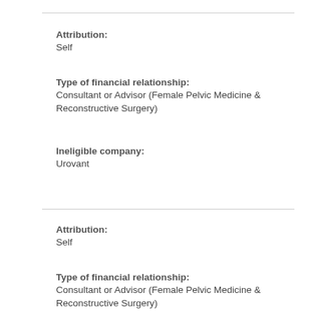Attribution:
Self
Type of financial relationship:
Consultant or Advisor (Female Pelvic Medicine & Reconstructive Surgery)
Ineligible company:
Urovant
Attribution:
Self
Type of financial relationship:
Consultant or Advisor (Female Pelvic Medicine & Reconstructive Surgery)